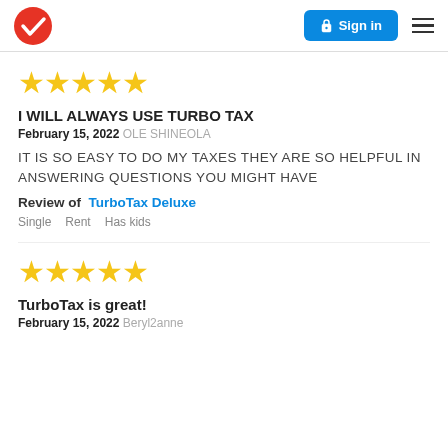TurboTax logo | Sign in | Menu
[Figure (other): 5 gold star rating icons]
I WILL ALWAYS USE TURBO TAX
February 15, 2022 OLE SHINEOLA
IT IS SO EASY TO DO MY TAXES THEY ARE SO HELPFUL IN ANSWERING QUESTIONS YOU MIGHT HAVE
Review of TurboTax Deluxe
Single   Rent   Has kids
[Figure (other): 5 gold star rating icons]
TurboTax is great!
February 15, 2022 Beryl2anne